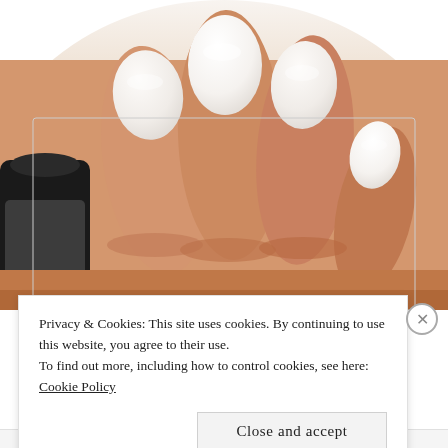[Figure (photo): Close-up photo of a hand with white painted nails, holding a nail polish bottle (OPI brand visible). The nails are rounded and painted in a creamy white/off-white color.]
Privacy & Cookies: This site uses cookies. By continuing to use this website, you agree to their use.
To find out more, including how to control cookies, see here: Cookie Policy
Close and accept